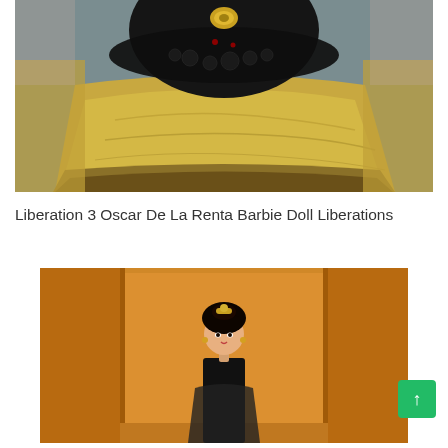[Figure (photo): Close-up photo of a Barbie doll wearing an elaborate black lace bodice with gold brooch over a golden/champagne ballgown skirt with fur trim at the bottom.]
Liberation 3 Oscar De La Renta Barbie Doll Liberations
[Figure (photo): Photo of a Barbie doll displayed in an open orange/brown box, showing the full doll with dark hair updo and ornate costume, set against the warm-toned display packaging.]